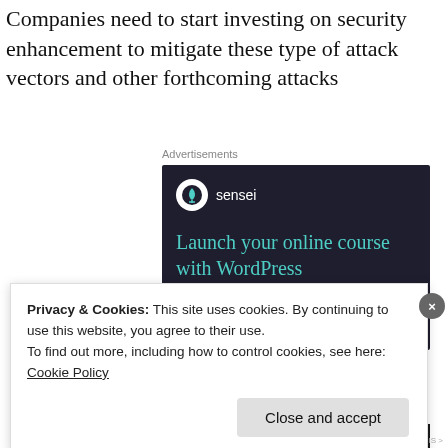Companies need to start investing on security enhancement to mitigate these type of attack vectors and other forthcoming attacks
[Figure (other): Advertisement banner for Sensei plugin. Dark navy background with Sensei logo (tree icon in white circle), brand name 'sensei', tagline 'Launch your online course with WordPress' in teal color, and a 'Learn More' teal button.]
Privacy & Cookies: This site uses cookies. By continuing to use this website, you agree to their use. To find out more, including how to control cookies, see here: Cookie Policy
Close and accept